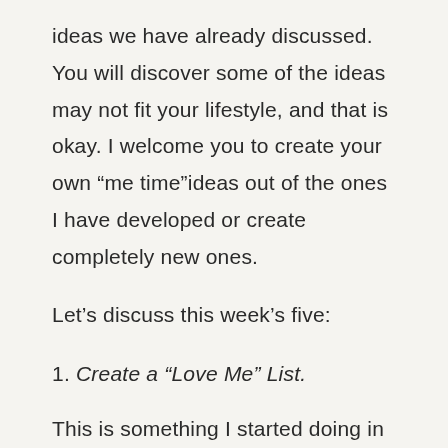ideas we have already discussed. You will discover some of the ideas may not fit your lifestyle, and that is okay. I welcome you to create your own “me time”ideas out of the ones I have developed or create completely new ones.
Let’s discuss this week’s five:
1. Create a “Love Me” List.
This is something I started doing in 2015, and it has helped me through some tough times. This list became something profound in my life after my divorce in 2016. This is a